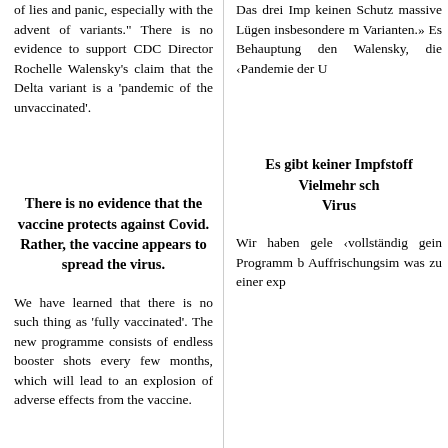of lies and panic, especially with the advent of variants." There is no evidence to support CDC Director Rochelle Walensky's claim that the Delta variant is a 'pandemic of the unvaccinated'.
Das drei Imp keinen Schutz massive Lügen insbesondere m Varianten.» Es Behauptung den Walensky, die ‹Pandemie der U
There is no evidence that the vaccine protects against Covid.
Rather, the vaccine appears to spread the virus.
Es gibt keiner Impfstoff Vielmehr sch Virus
We have learned that there is no such thing as 'fully vaccinated'. The new programme consists of endless booster shots every few months, which will lead to an explosion of adverse effects from the vaccine.
Wir haben gele ‹vollständig gein Programm b Auffrischungsim was zu einer exp